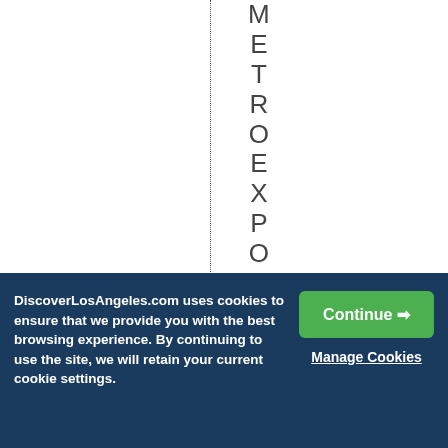[Figure (other): White background area with a vertical dotted line on the left side and vertical text reading 'METROEXPOLINE' followed by '07/' running down the right side of the line]
DiscoverLosAngeles.com uses cookies to ensure that we provide you with the best browsing experience. By continuing to use the site, we will retain your current cookie settings.
Continue →
Manage Cookies